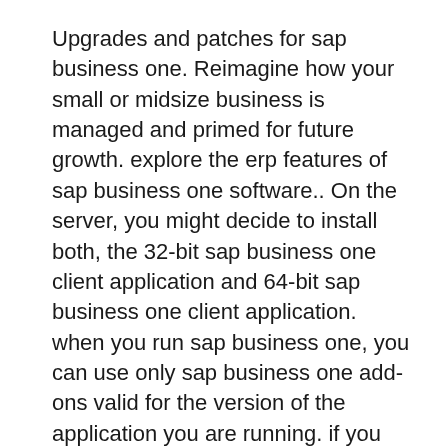Upgrades and patches for sap business one. Reimagine how your small or midsize business is managed and primed for future growth. explore the erp features of sap business one software.. On the server, you might decide to install both, the 32-bit sap business one client application and 64-bit sap business one client application. when you run sap business one, you can use only sap business one add-ons valid for the version of the application you are running. if you are using the 32-bit version of the sap business one client, you.... 2021-11-29